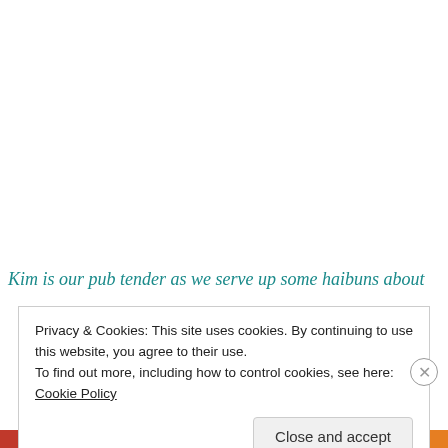Kim is our pub tender as we serve up some haibuns about
Privacy & Cookies: This site uses cookies. By continuing to use this website, you agree to their use.
To find out more, including how to control cookies, see here: Cookie Policy
Close and accept